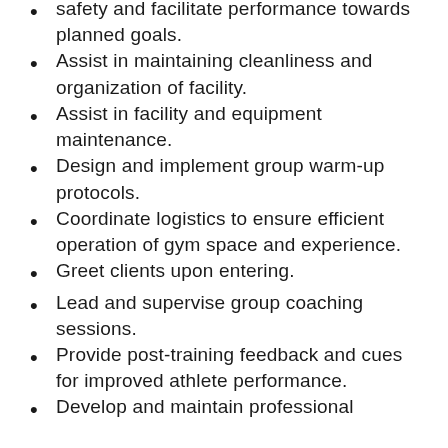safety and facilitate performance towards planned goals.
Assist in maintaining cleanliness and organization of facility.
Assist in facility and equipment maintenance.
Design and implement group warm-up protocols.
Coordinate logistics to ensure efficient operation of gym space and experience.
Greet clients upon entering.
Lead and supervise group coaching sessions.
Provide post-training feedback and cues for improved athlete performance.
Develop and maintain professional